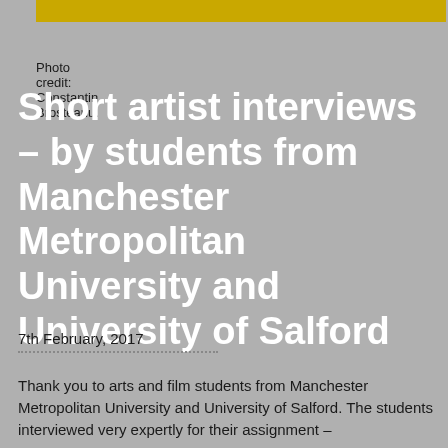[Figure (photo): Gold/yellow banner bar at top of page]
Photo credit: Constantin Brosteanu.
Short artist interviews – by students from Manchester Metropolitan University and University of Salford
7th February, 2017
Thank you to arts and film students from Manchester Metropolitan University and University of Salford. The students interviewed very expertly for their assignment –